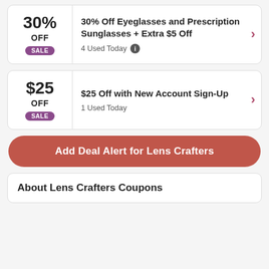30% OFF SALE — 30% Off Eyeglasses and Prescription Sunglasses + Extra $5 Off — 4 Used Today
$25 OFF SALE — $25 Off with New Account Sign-Up — 1 Used Today
Add Deal Alert for Lens Crafters
About Lens Crafters Coupons